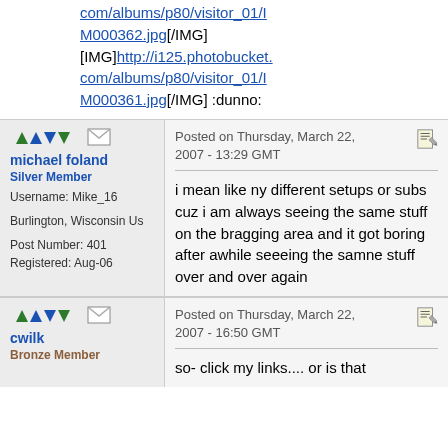com/albums/p80/visitor_01/IM000362.jpg[/IMG] [IMG]http://i125.photobucket.com/albums/p80/visitor_01/IM000361.jpg[/IMG] :dunno:
Posted on Thursday, March 22, 2007 - 13:29 GMT
michael foland
Silver Member
Username: Mike_16
Burlington, Wisconsin Us
Post Number: 401
Registered: Aug-06
i mean like ny different setups or subs cuz i am always seeing the same stuff on the bragging area and it got boring after awhile seeeing the samne stuff over and over again
Posted on Thursday, March 22, 2007 - 16:50 GMT
cwilk
Bronze Member
so- click my links.... or is that